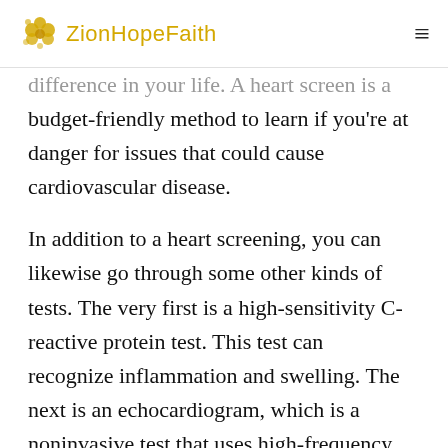ZionHopeFaith
difference in your life. A heart screen is a budget-friendly method to learn if you're at danger for issues that could cause cardiovascular disease.
In addition to a heart screening, you can likewise go through some other kinds of tests. The very first is a high-sensitivity C-reactive protein test. This test can recognize inflammation and swelling. The next is an echocardiogram, which is a noninvasive test that uses high-frequency acoustic waves to make pictures of your